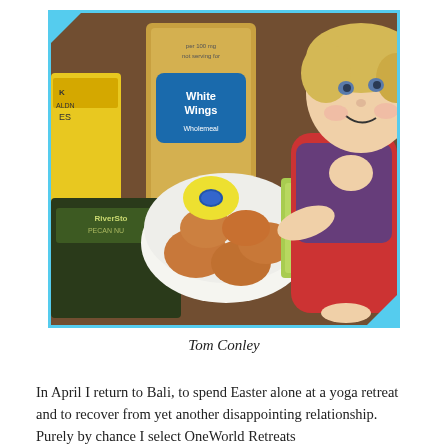[Figure (photo): A young blonde child smiling at a table with baking ingredients: White Wings Wholemeal flour bag, eggs in a white bowl, a lemon, a small carton with a red star, and bags of Riversong Pecan Nuts and another yellow bag, all arranged on a dark wooden table.]
Tom Conley
In April I return to Bali, to spend Easter alone at a yoga retreat and to recover from yet another disappointing relationship. Purely by chance I select OneWorld Retreats